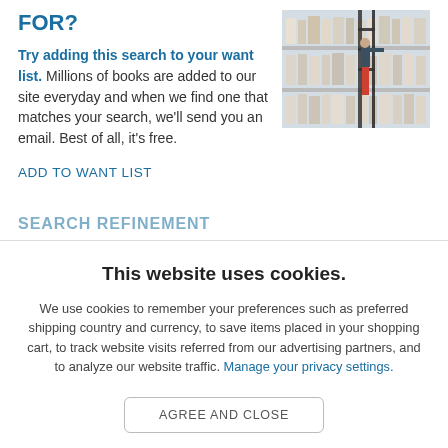FOR?
Try adding this search to your want list. Millions of books are added to our site everyday and when we find one that matches your search, we'll send you an email. Best of all, it's free.
[Figure (photo): A person on a ladder browsing bookshelves filled with books in a library or bookstore]
ADD TO WANT LIST
This website uses cookies.
We use cookies to remember your preferences such as preferred shipping country and currency, to save items placed in your shopping cart, to track website visits referred from our advertising partners, and to analyze our website traffic. Manage your privacy settings.
AGREE AND CLOSE